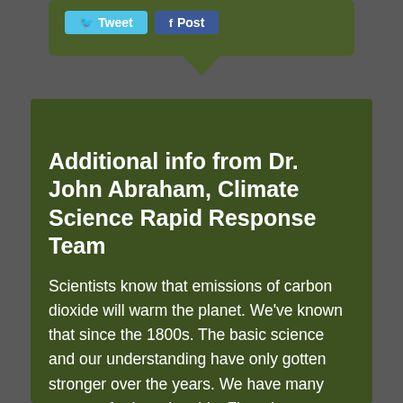[Figure (screenshot): Social media sharing buttons: Tweet (Twitter) and Post (Facebook) on a dark green popup/tooltip background]
Additional info from Dr. John Abraham, Climate Science Rapid Response Team
Scientists know that emissions of carbon dioxide will warm the planet. We've known that since the 1800s. The basic science and our understanding have only gotten stronger over the years. We have many reasons for knowing this. First, the temperatures have been rising since instruments have been making accurate measurements. Second, we see more heat entering the planet's atmosphere than leaving it. Third, we can look back into time with ice cores, tree rings, coral records, and